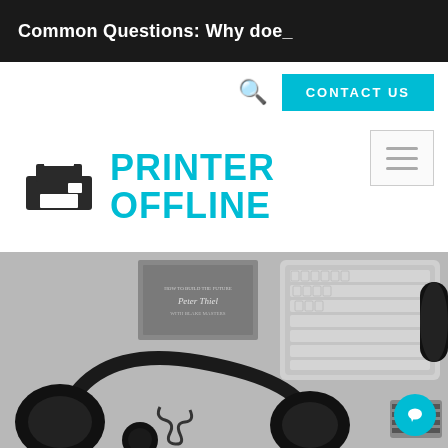Common Questions: Why doe_
PRINTER OFFLINE
[Figure (screenshot): Website header showing PRINTER OFFLINE logo with printer icon, navigation bar with search icon and CONTACT US button, and a hero image showing a flat-lay of tech accessories including headphones, keyboard, sunglasses, and a book by Peter Thiel.]